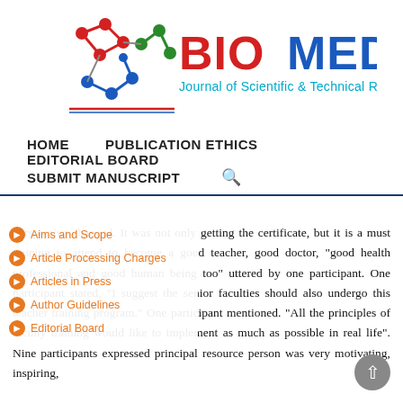[Figure (logo): Biomedical Journal of Scientific & Technical Research logo with molecular graphic]
HOME   PUBLICATION ETHICS   EDITORIAL BOARD   SUBMIT MANUSCRIPT
Aims and Scope
Article Processing Charges
Articles in Press
Author Guidelines
Editorial Board
perspective changed. It was not only getting the certificate, but it is a must training to attend to become a good teacher, good doctor, good health professional and good human being too" uttered by one participant. One participant stated, "I suggest the senior faculties should also undergo this teacher training program." One participant mentioned. "All the principles of faculty training would like to implement as much as possible in real life". Nine participants expressed principal resource person was very motivating, inspiring,